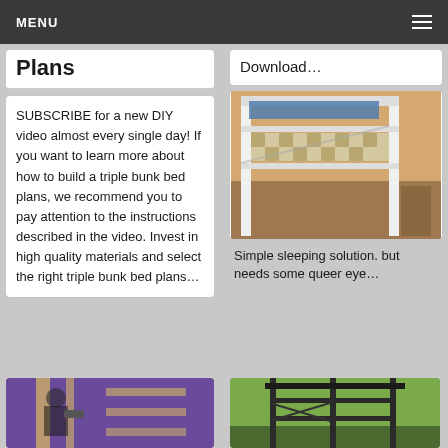MENU
Plans
SUBSCRIBE for a new DIY video almost every single day! If you want to learn more about how to build a triple bunk bed plans, we recommend you to pay attention to the instructions described in the video. Invest in high quality materials and select the right triple bunk bed plans…
Download…
[Figure (photo): Photo of a bunk bed with checkered bedding in a bedroom]
Simple sleeping solution. but needs some queer eye…
[Figure (photo): Partial photo of a bunk bed being built, person using drill, purple background]
[Figure (photo): Partial photo of a dark metal loft bed frame in a room with green walls]